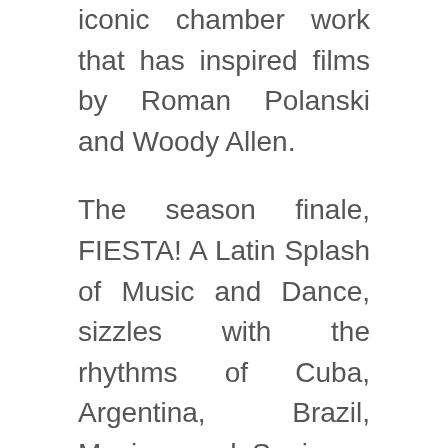iconic chamber work that has inspired films by Roman Polanski and Woody Allen.
The season finale, FIESTA! A Latin Splash of Music and Dance, sizzles with the rhythms of Cuba, Argentina, Brazil, Mexico, and Spain on Saturday, June 4, 6PM in a most unusual and fun fusion evening at Tanglewood's Ozawa Hall in Lenox. Stars from the chamber music and dance world share the stage: David Parsons' choreography of Astor Piazzolla's Grand Tango (commissioned